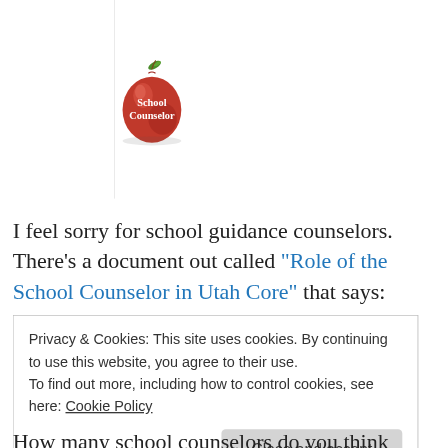[Figure (illustration): A red apple with a green leaf on top, with white bold text reading 'School Counselor' overlaid on the apple]
I feel sorry for school guidance counselors. There's a document out called "Role of the School Counselor in Utah Core" that says:
Privacy & Cookies: This site uses cookies. By continuing to use this website, you agree to their use. To find out more, including how to control cookies, see here: Cookie Policy
How many school counselors do you think became